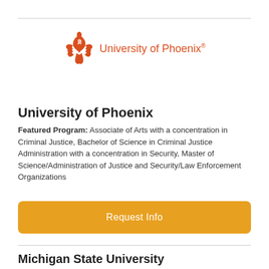[Figure (logo): University of Phoenix logo — orange phoenix bird icon with text 'University of Phoenix®' in orange]
University of Phoenix
Featured Program: Associate of Arts with a concentration in Criminal Justice, Bachelor of Science in Criminal Justice Administration with a concentration in Security, Master of Science/Administration of Justice and Security/Law Enforcement Organizations
Request Info
Michigan State University